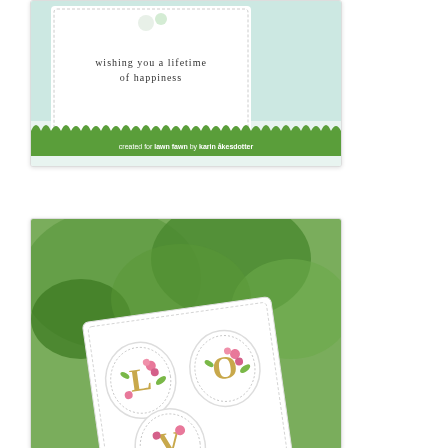[Figure (photo): Close-up of a handmade greeting card on a white background with green grass border strip at the bottom. The card features 'wishing you a lifetime of happiness' text in a dotted decorative frame with pink flower accents. Bottom banner reads 'created for lawn fawn by karin åkesdotter'.]
[Figure (photo): Close-up photo of a handmade LOVE card leaning against green foliage background. The white card shows decorative oval frames containing individual golden letters L, O, V, E decorated with pink flowers and green leaves on a white stitched cardstock background.]